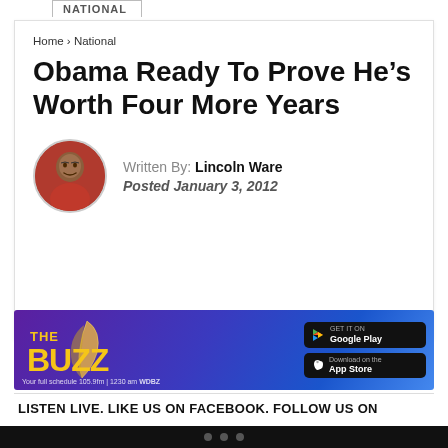NATIONAL
Home › National
Obama Ready To Prove He’s Worth Four More Years
Written By: Lincoln Ware
Posted January 3, 2012
[Figure (illustration): The Buzz WDBZ radio station advertisement banner with Google Play and App Store download buttons and a smartphone on a purple/blue background]
LISTEN LIVE. LIKE US ON FACEBOOK. FOLLOW US ON